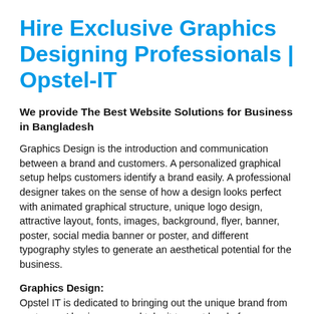Hire Exclusive Graphics Designing Professionals | Opstel-IT
We provide The Best Website Solutions for Business in Bangladesh
Graphics Design is the introduction and communication between a brand and customers. A personalized graphical setup helps customers identify a brand easily. A professional designer takes on the sense of how a design looks perfect with animated graphical structure, unique logo design, attractive layout, fonts, images, background, flyer, banner, poster, social media banner or poster, and different typography styles to generate an aesthetical potential for the business.
Graphics Design:
Opstel IT is dedicated to bringing out the unique brand from customers' businesses and take it to next level of augmentation with the implementation of eye-catching